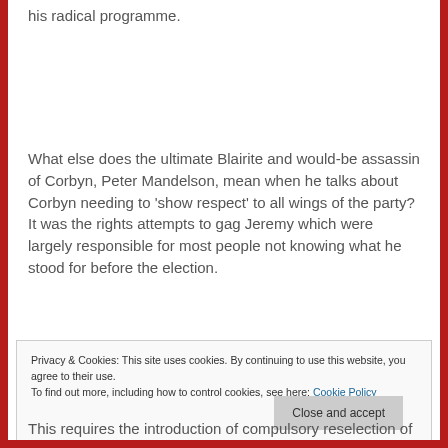his radical programme.
What else does the ultimate Blairite and would-be assassin of Corbyn, Peter Mandelson, mean when he talks about Corbyn needing to ‘show respect’ to all wings of the party? It was the rights attempts to gag Jeremy which were largely responsible for most people not knowing what he stood for before the election.
Privacy & Cookies: This site uses cookies. By continuing to use this website, you agree to their use.
To find out more, including how to control cookies, see here: Cookie Policy
Close and accept
This requires the introduction of compulsory reselection of